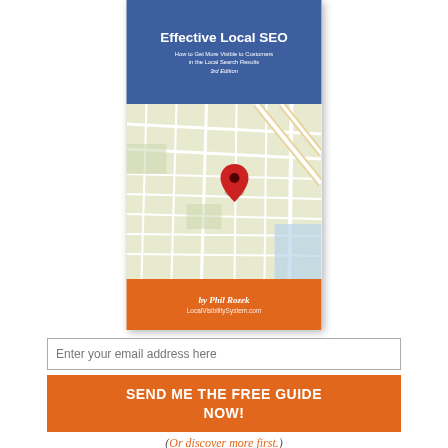[Figure (illustration): Book cover for 'Effective Local SEO: How to Get More Visible to Customers in the Local Search Results, 3rd Edition' by Phil Rozek, LocalVisibilitySystem.com. Blue top section with title, map section in middle with a red location pin, orange bottom with author name.]
Enter your email address here
SEND ME THE FREE GUIDE NOW!
(Or discover more first.)